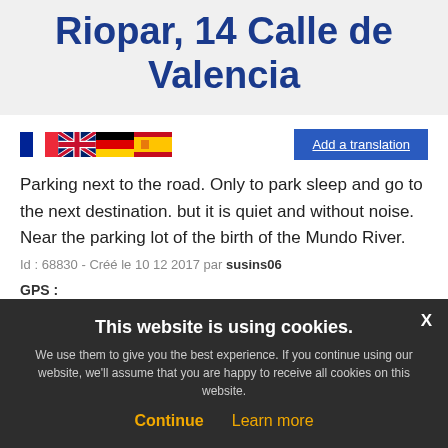Riopar, 14 Calle de Valencia
[Figure (illustration): Row of four country flags: French flag, British flag (Union Jack), German flag, Spanish flag]
Parking next to the road. Only to park sleep and go to the next destination. but it is quiet and without noise. Near the parking lot of the birth of the Mundo River.
Id : 68830 - Créé le 10 12 2017 par susins06
GPS :
N 38°29 53.5164, W-2° 23.2272
This website is using cookies. We use them to give you the best experience. If you continue using our website, we'll assume that you are happy to receive all cookies on this website.